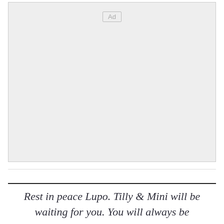[Figure (other): Advertisement placeholder box with 'Ad' label in top center]
Rest in peace Lupo. Tilly & Mini will be waiting for you. You will always be